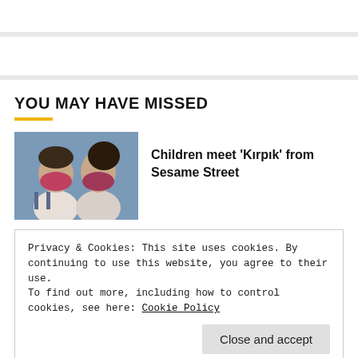YOU MAY HAVE MISSED
[Figure (photo): Two children wearing face masks, one with a pink mask, looking sideways]
Children meet 'Kırpık' from Sesame Street
Privacy & Cookies: This site uses cookies. By continuing to use this website, you agree to their use.
To find out more, including how to control cookies, see here: Cookie Policy
Close and accept
[Figure (photo): Dark image at the bottom, partially visible]
Oct. 10, 2021